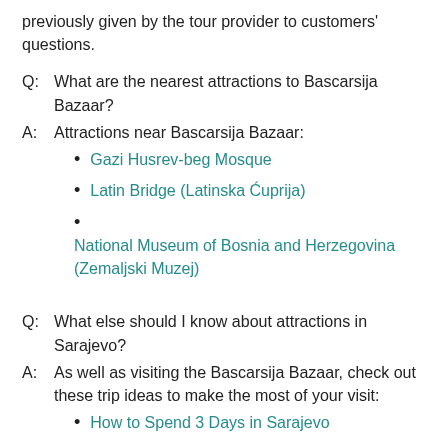previously given by the tour provider to customers' questions.
Q:  What are the nearest attractions to Bascarsija Bazaar?
A:  Attractions near Bascarsija Bazaar:
Gazi Husrev-beg Mosque
Latin Bridge (Latinska Ćuprija)
National Museum of Bosnia and Herzegovina (Zemaljski Muzej)
Q:  What else should I know about attractions in Sarajevo?
A:  As well as visiting the Bascarsija Bazaar, check out these trip ideas to make the most of your visit:
How to Spend 3 Days in Sarajevo
How to Spend 2 Days in Sarajevo